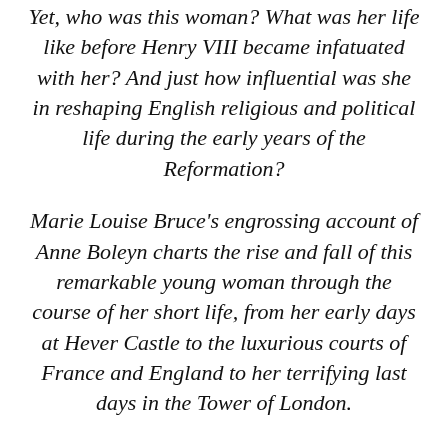Yet, who was this woman? What was her life like before Henry VIII became infatuated with her? And just how influential was she in reshaping English religious and political life during the early years of the Reformation?
Marie Louise Bruce's engrossing account of Anne Boleyn charts the rise and fall of this remarkable young woman through the course of her short life, from her early days at Hever Castle to the luxurious courts of France and England to her terrifying last days in the Tower of London.